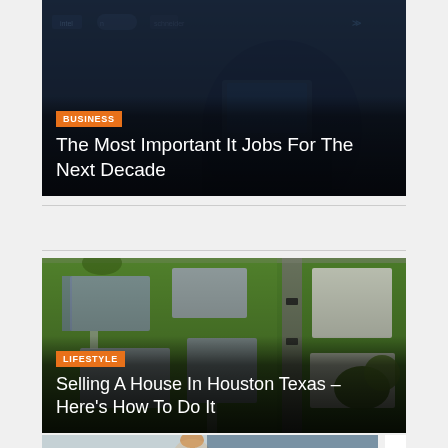[Figure (photo): Business article card with dark tech background showing people with laptops and brand logos. Badge: BUSINESS. Title: The Most Important It Jobs For The Next Decade]
[Figure (photo): Lifestyle article card with aerial drone view of suburban Houston houses and green yards. Badge: LIFESTYLE. Title: Selling A House In Houston Texas – Here's How To Do It]
[Figure (photo): Partial article card with interior/lifestyle image showing furniture and books]